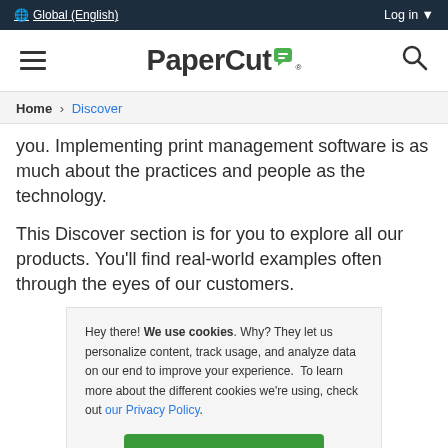🌐 Global (English)  Log in ▼
[Figure (logo): PaperCut logo with green chat bubble icon, hamburger menu icon on left, search icon on right]
Home › Discover
you. Implementing print management software is as much about the practices and people as the technology.
This Discover section is for you to explore all our products. You'll find real-world examples often through the eyes of our customers.
Hey there! We use cookies. Why? They let us personalize content, track usage, and analyze data on our end to improve your experience. To learn more about the different cookies we're using, check out our Privacy Policy.
OK, I UNDERSTAND